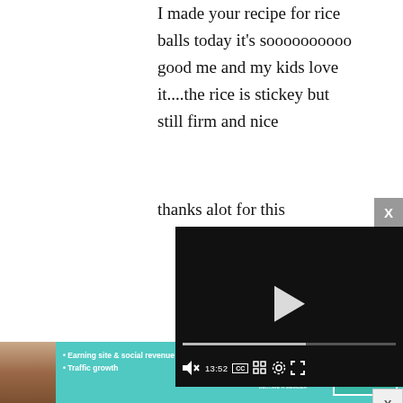I made your recipe for rice balls today it's soooooooooo good me and my kids love it....the rice is stickey but still firm and nice thanks alot for this ....thank you...
[Figure (screenshot): Embedded video player with black background, play button in center, progress bar, and controls showing 13:52 timestamp, mute, CC, grid, settings, and fullscreen buttons]
[Figure (infographic): Advertisement banner for SHE Partner Network with teal background, woman photo, bullet points 'Earning site & social revenue' and 'Traffic growth', SHE logo, and LEARN MORE button]